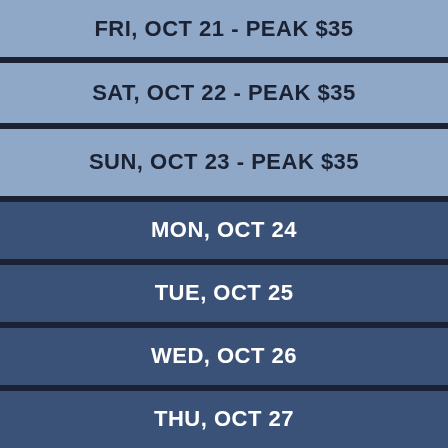FRI, OCT 21 - PEAK $35
SAT, OCT 22 - PEAK $35
SUN, OCT 23 - PEAK $35
MON, OCT 24
TUE, OCT 25
WED, OCT 26
THU, OCT 27